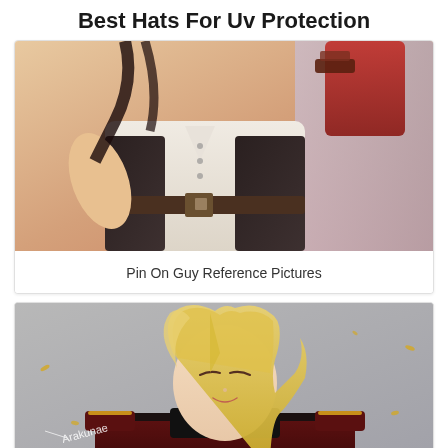Best Hats For Uv Protection
[Figure (illustration): Anime-style illustration of a male character in a white shirt and dark vest/jacket with a belt, one arm raised holding something red, depicted from chest down. Warm reddish and light tones with a blurred background.]
Pin On Guy Reference Pictures
[Figure (illustration): Anime-style illustration of a blonde male character wearing a dark military uniform with epaulettes and a collar, smiling slightly, on a grey background with scattered gold leaf-like elements. Watermark text 'Arakunae' visible in lower left.]